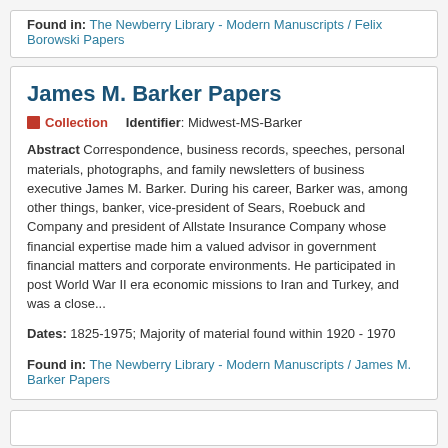Found in: The Newberry Library - Modern Manuscripts / Felix Borowski Papers
James M. Barker Papers
Collection   Identifier: Midwest-MS-Barker
Abstract Correspondence, business records, speeches, personal materials, photographs, and family newsletters of business executive James M. Barker. During his career, Barker was, among other things, banker, vice-president of Sears, Roebuck and Company and president of Allstate Insurance Company whose financial expertise made him a valued advisor in government financial matters and corporate environments. He participated in post World War II era economic missions to Iran and Turkey, and was a close...
Dates: 1825-1975; Majority of material found within 1920 - 1970
Found in: The Newberry Library - Modern Manuscripts / James M. Barker Papers